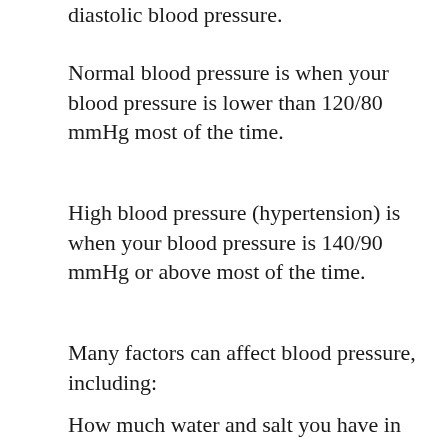diastolic blood pressure.
Normal blood pressure is when your blood pressure is lower than 120/80 mmHg most of the time.
High blood pressure (hypertension) is when your blood pressure is 140/90 mmHg or above most of the time.
Many factors can affect blood pressure, including:
How much water and salt you have in your body